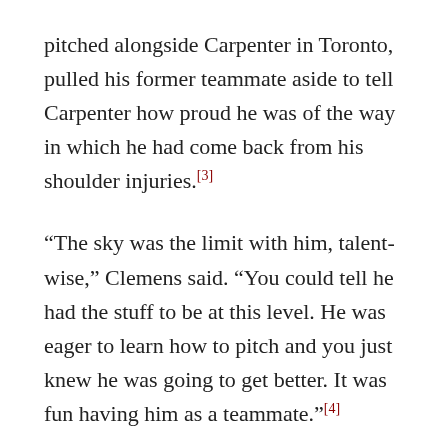pitched alongside Carpenter in Toronto, pulled his former teammate aside to tell Carpenter how proud he was of the way in which he had come back from his shoulder injuries.[3]
“The sky was the limit with him, talent-wise,” Clemens said. “You could tell he had the stuff to be at this level. He was eager to learn how to pitch and you just knew he was going to get better. It was fun having him as a teammate.”[4]
It may have been less fun having him as an opponent. Once the regular season resumed, Carpenter’s first